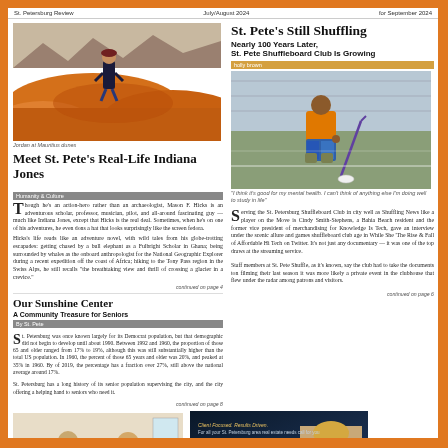St. Petersburg Review  |  July/August 2024  |  for September 2024
[Figure (photo): Person standing on orange-red desert sand dunes with mountains in background]
Jordan at Mauritius dunes
Meet St. Pete's Real-Life Indiana Jones
Humanity & Culture
Though he's an archaeologist rather than an archaeologist, Mason F. Hicks is an adventurous scholar, professor, musician, pilot, and all-around fascinating guy — much like Indiana Jones, except that Hicks is the real deal. Sometimes, when he's on one of his adventures, he even dons a hat that looks surprisingly like the screen fedora. Hicks's life reads like an adventure novel, with wild tales from his globe-trotting escapades: getting chased by a bull elephant as a Fulbright Scholar in Ghana; being surrounded by whales as the onboard anthropologist for the National Geographic Explorer during a recent expedition off the coast of Africa; hiking to the Tony Pass region in the Swiss Alps; he still recalls 'the breathtaking view and thrill of crossing a glacier in a crevice.'
continued on page 4
St. Pete's Still Shuffling
Nearly 100 Years Later, St. Pete Shuffleboard Club Is Growing
[Figure (photo): Person in orange shirt crouching and playing shuffleboard on an outdoor court]
caption: 'I think it's good for your mental health. I can't think of anything else I'm doing well to study in life'
Serving the St. Petersburg Shuffleboard Club in city well as Shuffling News like a player on the Move is Cindy Smith-Stephens, a Bahia Beach resident and the former vice president of merchandising for Knowledge Is Tech, gave an interview under the scenic allure and games shuffleboard club age in While She 'The Rise of Fall of Affordable Hi Tech on Twitter, It's not just any documentary — it was one of the top draws at the streaming service. Staff members at St. Pete Shuffle, as it's known, say the club had to take the documents ten filming their last season it was more likely a private event in the clubhouse that flew under the radar among patrons and visitors.
continued on page 6
Our Sunshine Center
A Community Treasure for Seniors
By St. Pete
St. Petersburg was once known largely for its Democrat population, but that demographic did not begin to develop until about 1990. Between 1990 and 1960, the proportion of those 65 and older ranged from 17% to 19%, although its was still substantially higher than the total US population. In 1960, the percent of those 65 years and older was 20%, and peaked at 35% in 1960. By of 2019, the percentage has a fraction over 27%, still above the national average around 17%. St. Petersburg has a long history of its senior population supervising the city, and the city offering a helping hand to seniors who need it.
continued on page 8
[Figure (photo): Two people sitting at a table in what appears to be the Sunshine Center cafeteria]
Café Renew with staff at the Sunshine Center café
[Figure (photo): Advertisement for Ali Bearnorth Realtor with photo of blonde woman]
Client Focused. Results Driven. Ali Bearnorth Realtor